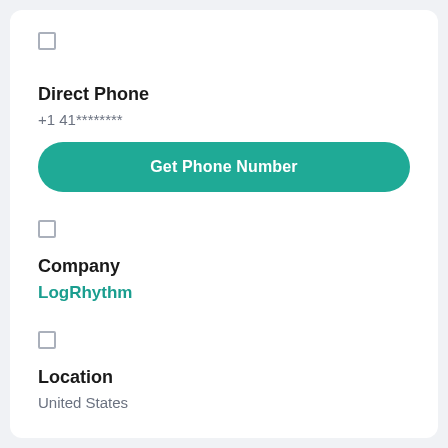□
Direct Phone
+1 41********
Get Phone Number
□
Company
LogRhythm
□
Location
United States